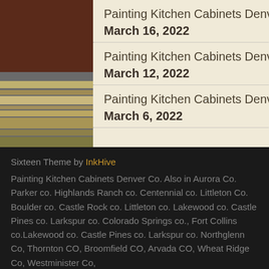Painting Kitchen Cabinets Denver
March 16, 2022
Painting Kitchen Cabinets Denver
March 12, 2022
Painting Kitchen Cabinets Denver
March 6, 2022
Sixteen Theme by InkHive
Painting Kitchen Cabinets Denver Co. Also in Aurora Co. Parker co. Highlands Ranch co. Centennial co. Littleton Co. Boulder co. Castle Rock co. Littleton co. Lakewood co. Castle Pines co. Larkspur co. Colorado Springs co., Fort Collins co.Lakewood co. Castle Pines co. Larkspur co. Northglenn Co, Thornton CO, Broomfield CO, Arvada CO, Wheat Ridge Co, Westminister Co,